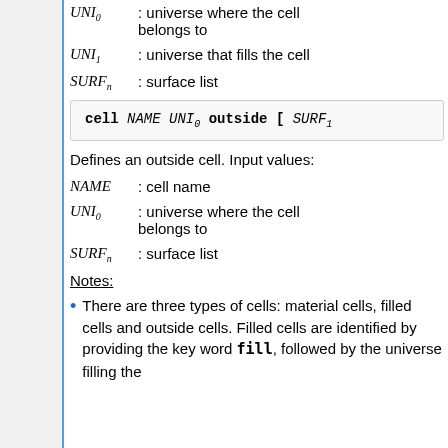UNI_0 : universe where the cell belongs to
UNI_1 : universe that fills the cell
SURF_n : surface list
Defines an outside cell. Input values:
NAME : cell name
UNI_0 : universe where the cell belongs to
SURF_n : surface list
Notes:
There are three types of cells: material cells, filled cells and outside cells. Filled cells are identified by providing the key word fill, followed by the universe filling the